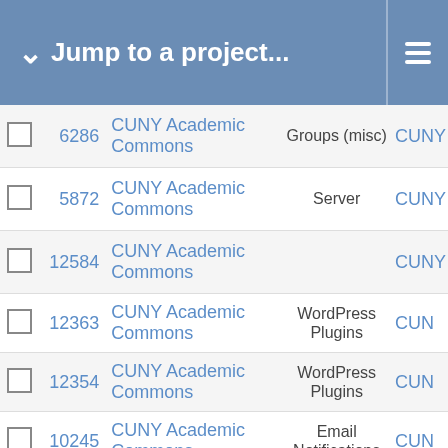Jump to a project...
|  | ID | Project | Category | Org |
| --- | --- | --- | --- | --- |
| ☐ | 6286 | CUNY Academic Commons | Groups (misc) | CUNY |
| ☐ | 5872 | CUNY Academic Commons | Server | CUNY |
| ☐ | 12584 | CUNY Academic Commons |  | CUNY |
| ☐ | 12363 | CUNY Academic Commons | WordPress Plugins | CUN |
| ☐ | 12354 | CUNY Academic Commons | WordPress Plugins | CUN |
| ☐ | 10245 | CUNY Academic Commons | Email Notifications | CUN |
| ☐ | 8878 | CUNY Academic Commons | cuny.is | CUNY |
| ☐ | 7995 | CUNY Academic Commons | Domain Mapping | CUNY |
| ☐ | 7994 | CUNY Academic Commons | WordPress (misc) | CUN |
| ☐ | 6599 | CUNY Academic Commons | ZenDesk | CU |
| ☐ | 5435 | CUNY Academic Commons |  | CUNY |